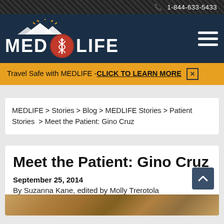1-844-633-5433
[Figure (logo): MEDLIFE logo with mountain peaks above, red circle with caduceus symbol between MED and LIFE text in white on dark navy background]
Travel Safe with MEDLIFE - CLICK TO LEARN MORE ✕
MEDLIFE > Stories > Blog > MEDLIFE Stories > Patient Stories > Meet the Patient: Gino Cruz
Meet the Patient: Gino Cruz
September 25, 2014
By Suzanna Kane, edited by Molly Trerotola
[Figure (photo): Partial view of a photo at the bottom of the page showing warm brown/tan tones]